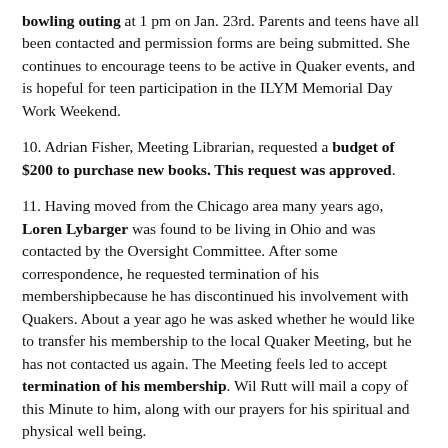bowling outing at 1 pm on Jan. 23rd. Parents and teens have all been contacted and permission forms are being submitted. She continues to encourage teens to be active in Quaker events, and is hopeful for teen participation in the ILYM Memorial Day Work Weekend.
10. Adrian Fisher, Meeting Librarian, requested a budget of $200 to purchase new books. This request was approved.
11. Having moved from the Chicago area many years ago, Loren Lybarger was found to be living in Ohio and was contacted by the Oversight Committee. After some correspondence, he requested termination of his membershipbecause he has discontinued his involvement with Quakers. About a year ago he was asked whether he would like to transfer his membership to the local Quaker Meeting, but he has not contacted us again. The Meeting feels led to accept termination of his membership. Wil Rutt will mail a copy of this Minute to him, along with our prayers for his spiritual and physical well being.